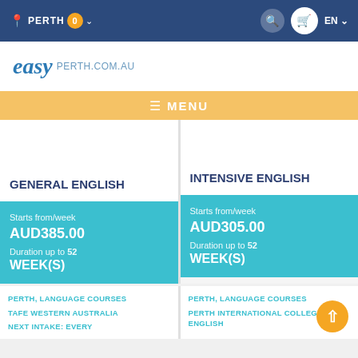PERTH 0 | EN
[Figure (logo): easy PERTH.COM.AU logo]
MENU
GENERAL ENGLISH
Starts from/week AUD385.00 Duration up to 52 WEEK(S)
INTENSIVE ENGLISH
Starts from/week AUD305.00 Duration up to 52 WEEK(S)
PERTH, LANGUAGE COURSES
TAFE WESTERN AUSTRALIA
NEXT INTAKE: EVERY
PERTH, LANGUAGE COURSES
PERTH INTERNATIONAL COLLEGE OF ENGLISH